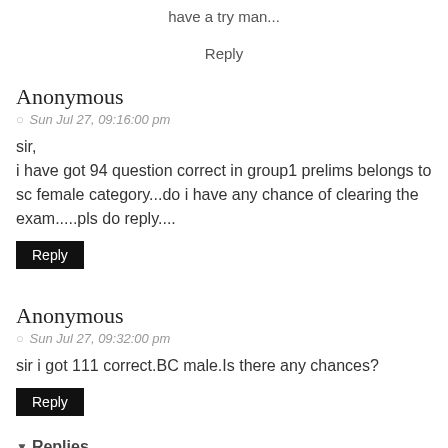have a try man...
Reply
Anonymous
Sun Jul 27, 09:16:00 pm
sir,
i have got 94 question correct in group1 prelims belongs to sc female category...do i have any chance of clearing the exam.....pls do reply....
Reply
Anonymous
Sun Jul 27, 09:32:00 pm
sir i got 111 correct.BC male.Is there any chances?
Reply
Replies
Lee
Mon Jul 28, 11:57:00 am
little chances...